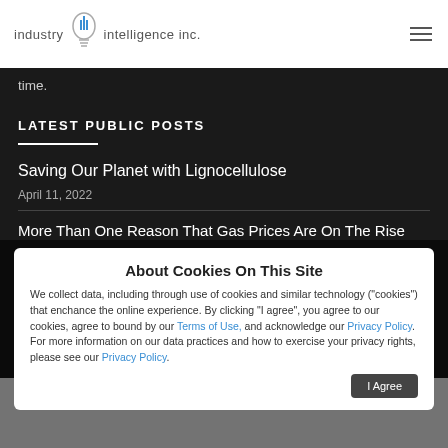industry iii intelligence inc.
time.
LATEST PUBLIC POSTS
Saving Our Planet with Lignocellulose
April 11, 2022
More Than One Reason That Gas Prices Are On The Rise
About Cookies On This Site
We collect data, including through use of cookies and similar technology ("cookies") that enchance the online experience. By clicking "I agree", you agree to our cookies, agree to bound by our Terms of Use, and acknowledge our Privacy Policy. For more information on our data practices and how to exercise your privacy rights, please see our Privacy Policy.